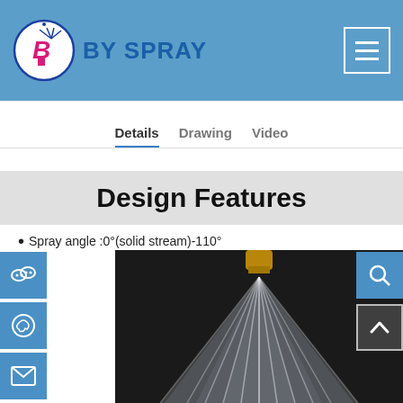[Figure (logo): BY SPRAY company logo: circular blue border with stylized B and spray icon, company name in blue bold text]
BY SPRAY
Details   Drawing   Video
Design Features
Spray angle :0°(solid stream)-110°
[Figure (photo): Close-up photo of a spray nozzle emitting a wide fan spray pattern against a dark/black background. The spray forms a cone shape from the nozzle tip downward.]